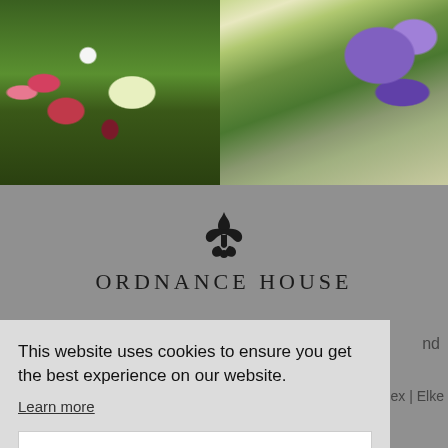[Figure (photo): Garden photo strip with two panels: left shows colorful flower garden with red/pink blooms and white foxgloves, green foliage; right shows purple flowering plants, ornamental grasses, and a gravel path through manicured hedges.]
[Figure (logo): Ordnance House logo: decorative black fleur-de-lis style symbol above the text 'ORDNANCE HOUSE' in spaced uppercase serif capitals.]
This website uses cookies to ensure you get the best experience on our website.
Learn more
Got it!